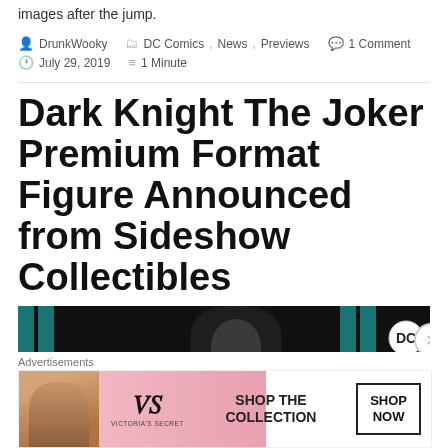images after the jump.
DrunkWooky   DC Comics, News, Previews   1 Comment   July 29, 2019   1 Minute
Dark Knight The Joker Premium Format Figure Announced from Sideshow Collectibles
[Figure (photo): Dark image with teal vertical bars and partial figure, DC logo visible]
Advertisements
[Figure (photo): Victoria's Secret advertisement banner with model, VS logo, 'SHOP THE COLLECTION' text and 'SHOP NOW' button]